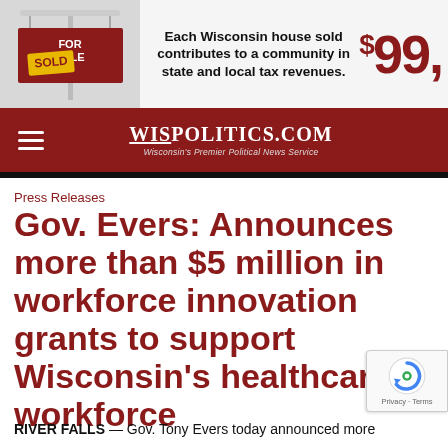[Figure (infographic): Advertisement banner showing a 'For Sale / Sold' real estate sign on the left, with bold text: 'Each Wisconsin house sold contributes to a community in state and local tax revenues.' and a large red dollar amount '$99,' on the right.]
WISPOLITICS.COM — Wisconsin's Premier Political News Service
Press Releases
Gov. Evers: Announces more than $5 million in workforce innovation grants to support Wisconsin's healthcare workforce
RIVER FALLS — Gov. Tony Evers today announced more